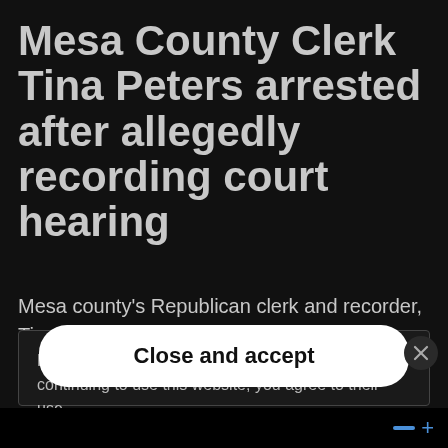Mesa County Clerk Tina Peters arrested after allegedly recording court hearing
Mesa county's Republican clerk and recorder, Tina Peters, who is currently being investigated by a grand jury for
Privacy & Cookies: This site uses cookies. By continuing to use this website, you agree to their use.
To find out more, including how to control cookies, see here: Cookie Policy
Close and accept